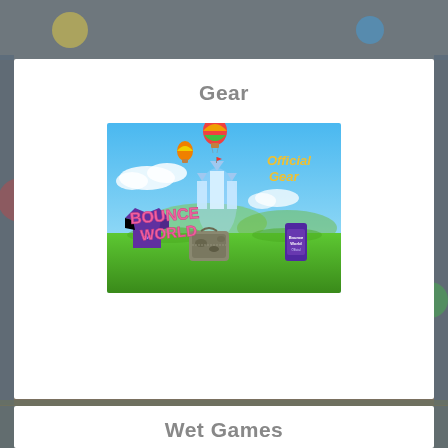Gear
[Figure (illustration): Bounce World Official Gear promotional image showing a purple t-shirt, a camouflage bag, a purple koozie/can holder, hot air balloons, and a fantasy castle on a bright green grassy landscape with blue sky. Text reads 'Official Gear' in yellow and 'Bounce World' in pink bubbly letters.]
Wet Games